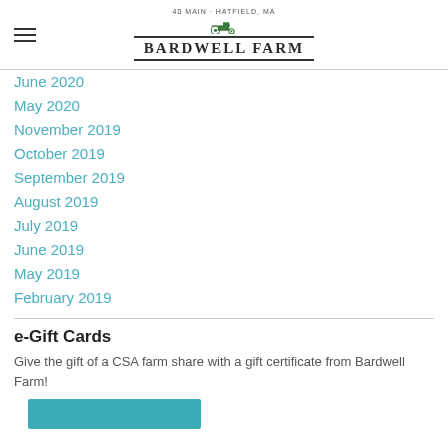BARDWELL FARM
June 2020
May 2020
November 2019
October 2019
September 2019
August 2019
July 2019
June 2019
May 2019
February 2019
e-Gift Cards
Give the gift of a CSA farm share with a gift certificate from Bardwell Farm!